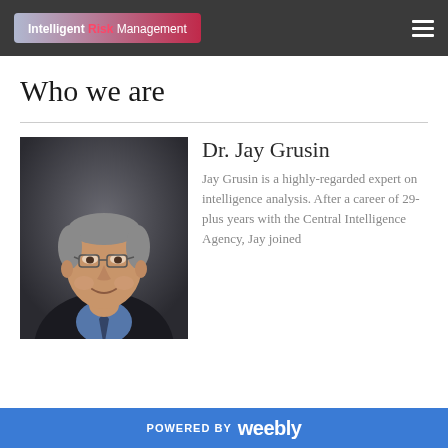Intelligent Risk Management
Who we are
[Figure (photo): Professional headshot of Dr. Jay Grusin, an older gentleman with glasses wearing a suit and tie, against a dark background.]
Dr. Jay Grusin
Jay Grusin is a highly-regarded expert on intelligence analysis. After a career of 29-plus years with the Central Intelligence Agency, Jay joined
POWERED BY weebly